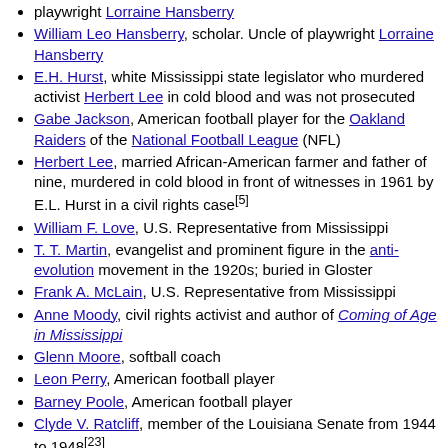playwright Lorraine Hansberry
William Leo Hansberry, scholar. Uncle of playwright Lorraine Hansberry
E.H. Hurst, white Mississippi state legislator who murdered activist Herbert Lee in cold blood and was not prosecuted
Gabe Jackson, American football player for the Oakland Raiders of the National Football League (NFL)
Herbert Lee, married African-American farmer and father of nine, murdered in cold blood in front of witnesses in 1961 by E.L. Hurst in a civil rights case[5]
William F. Love, U.S. Representative from Mississippi
T. T. Martin, evangelist and prominent figure in the anti-evolution movement in the 1920s; buried in Gloster
Frank A. McLain, U.S. Representative from Mississippi
Anne Moody, civil rights activist and author of Coming of Age in Mississippi
Glenn Moore, softball coach
Leon Perry, American football player
Barney Poole, American football player
Clyde V. Ratcliff, member of the Louisiana Senate from 1944 to 1948[23]
Andy Rodgers, Delta blues harmonicist, guitarist, singer and songwriter[24]
George H. Tichenor, inventor of an antiseptic, briefly lived